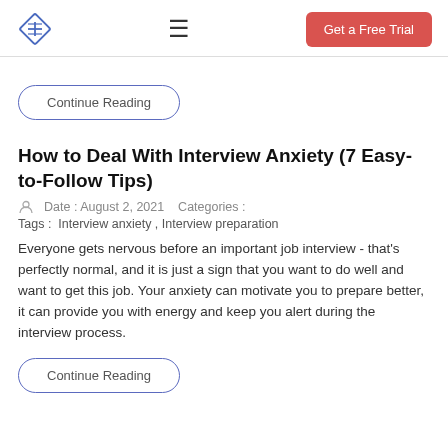Logo | Menu | Get a Free Trial
Continue Reading
How to Deal With Interview Anxiety (7 Easy-to-Follow Tips)
Date : August 2, 2021   Categories :
Tags :  Interview anxiety , Interview preparation
Everyone gets nervous before an important job interview - that's perfectly normal, and it is just a sign that you want to do well and want to get this job. Your anxiety can motivate you to prepare better, it can provide you with energy and keep you alert during the interview process.
Continue Reading